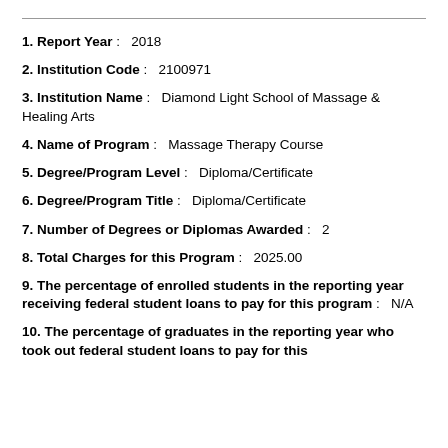1. Report Year: 2018
2. Institution Code: 2100971
3. Institution Name: Diamond Light School of Massage & Healing Arts
4. Name of Program: Massage Therapy Course
5. Degree/Program Level: Diploma/Certificate
6. Degree/Program Title: Diploma/Certificate
7. Number of Degrees or Diplomas Awarded: 2
8. Total Charges for this Program: 2025.00
9. The percentage of enrolled students in the reporting year receiving federal student loans to pay for this program: N/A
10. The percentage of graduates in the reporting year who took out federal student loans to pay for this